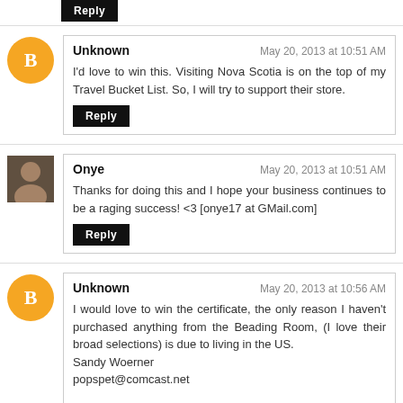Reply
Unknown
May 20, 2013 at 10:51 AM
I'd love to win this. Visiting Nova Scotia is on the top of my Travel Bucket List. So, I will try to support their store.
Reply
Onye
May 20, 2013 at 10:51 AM
Thanks for doing this and I hope your business continues to be a raging success! <3 [onye17 at GMail.com]
Reply
Unknown
May 20, 2013 at 10:56 AM
I would love to win the certificate, the only reason I haven't purchased anything from the Beading Room, (I love their broad selections) is due to living in the US.
Sandy Woerner
popspet@comcast.net